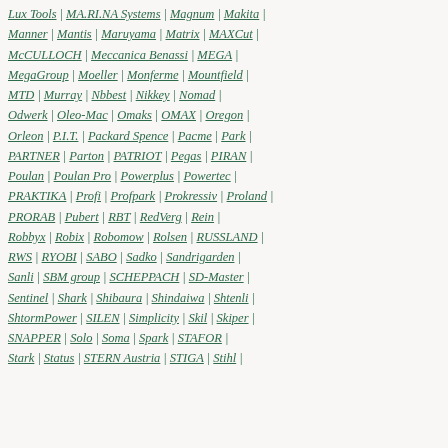Lux Tools | MA.RI.NA Systems | Magnum | Makita |
Manner | Mantis | Maruyama | Matrix | MAXCut |
McCULLOCH | Meccanica Benassi | MEGA |
MegaGroup | Moeller | Monferme | Mountfield |
MTD | Murray | Nbbest | Nikkey | Nomad |
Odwerk | Oleo-Mac | Omaks | OMAX | Oregon |
Orleon | P.I.T. | Packard Spence | Pacme | Park |
PARTNER | Parton | PATRIOT | Pegas | PIRAN |
Poulan | Poulan Pro | Powerplus | Powertec |
PRAKTIKA | Profi | Profpark | Prokressiv | Proland |
PRORAB | Pubert | RBT | RedVerg | Rein |
Robbyx | Robix | Robomow | Rolsen | RUSSLAND |
RWS | RYOBI | SABO | Sadko | Sandrigarden |
Sanli | SBM group | SCHEPPACH | SD-Master |
Sentinel | Shark | Shibaura | Shindaiwa | Shtenli |
ShtormPower | SILEN | Simplicity | Skil | Skiper |
SNAPPER | Solo | Soma | Spark | STAFOR |
Stark | Status | STERN Austria | STIGA | Stihl |